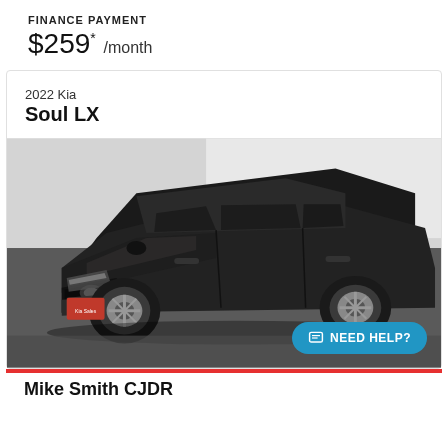FINANCE PAYMENT
$259* /month
2022 Kia
Soul LX
[Figure (photo): Black 2022 Kia Soul LX photographed in a dealership showroom, three-quarter front view, with a red dealer plate on the front bumper.]
NEED HELP?
Mike Smith CJDR